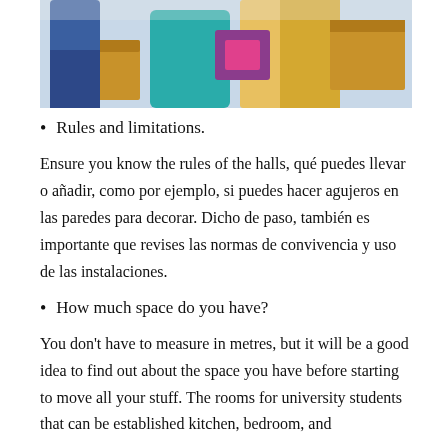[Figure (photo): People unpacking cardboard boxes, moving into a dorm or apartment. A person with long blonde hair visible in the foreground.]
Rules and limitations.
Ensure you know the rules of the halls, qué puedes llevar o añadir, como por ejemplo, si puedes hacer agujeros en las paredes para decorar. Dicho de paso, también es importante que revises las normas de convivencia y uso de las instalaciones.
How much space do you have?
You don't have to measure in metres, but it will be a good idea to find out about the space you have before starting to move all your stuff. The rooms for university students that can be established kitchen, bedroom, and